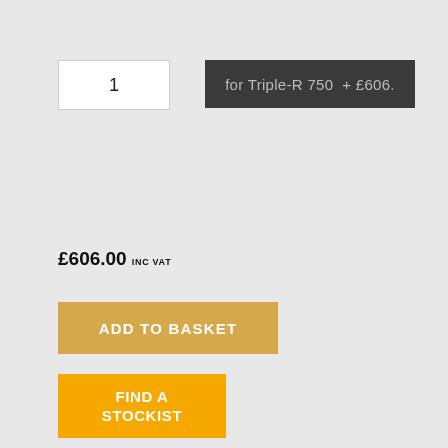1
for Triple-R 750  + £606.
£606.00 INC VAT
ADD TO BASKET
FIND A STOCKIST